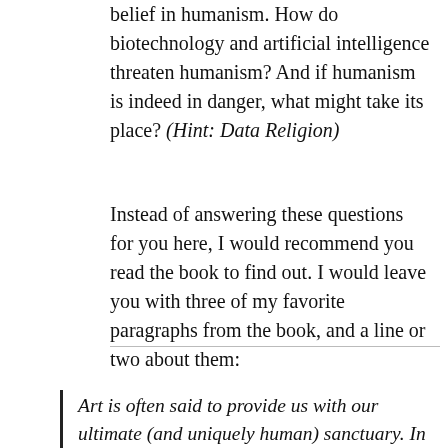belief in humanism. How do biotechnology and artificial intelligence threaten humanism? And if humanism is indeed in danger, what might take its place? (Hint: Data Religion)
Instead of answering these questions for you here, I would recommend you read the book to find out. I would leave you with three of my favorite paragraphs from the book, and a line or two about them:
Art is often said to provide us with our ultimate (and uniquely human) sanctuary. In a world where